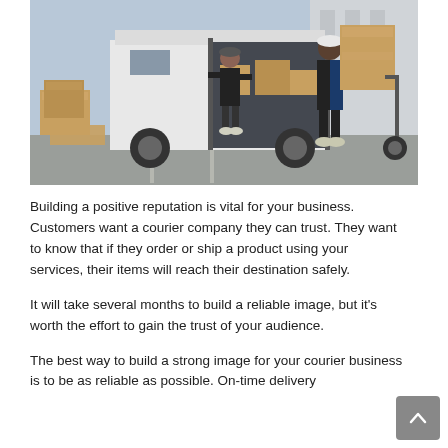[Figure (photo): Two delivery workers unloading large cardboard boxes from a white cargo van. One worker is inside the van organizing packages, while another uses a hand truck to move stacked boxes. Multiple cardboard boxes are visible on the ground near the van in an outdoor loading area.]
Building a positive reputation is vital for your business. Customers want a courier company they can trust. They want to know that if they order or ship a product using your services, their items will reach their destination safely.
It will take several months to build a reliable image, but it's worth the effort to gain the trust of your audience.
The best way to build a strong image for your courier business is to be as reliable as possible. On-time delivery